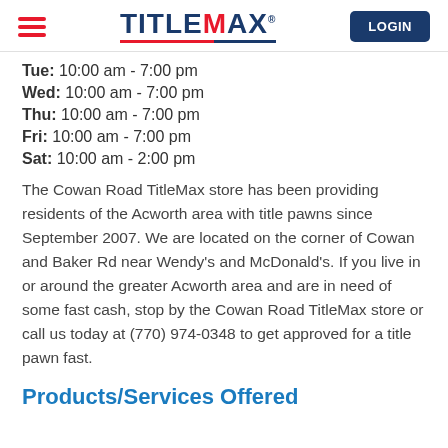TitleMax | LOGIN
Tue: 10:00 am - 7:00 pm
Wed: 10:00 am - 7:00 pm
Thu: 10:00 am - 7:00 pm
Fri: 10:00 am - 7:00 pm
Sat: 10:00 am - 2:00 pm
The Cowan Road TitleMax store has been providing residents of the Acworth area with title pawns since September 2007. We are located on the corner of Cowan and Baker Rd near Wendy’s and McDonald’s. If you live in or around the greater Acworth area and are in need of some fast cash, stop by the Cowan Road TitleMax store or call us today at (770) 974-0348 to get approved for a title pawn fast.
Products/Services Offered